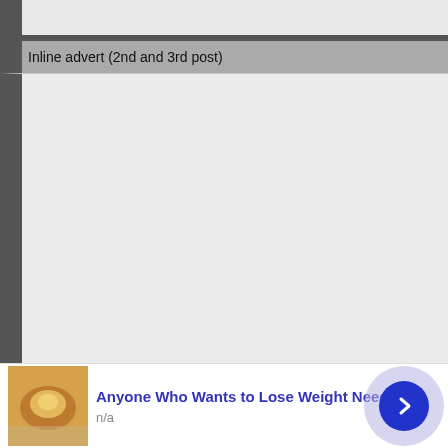Inline advert (2nd and 3rd post)
[Figure (screenshot): Large empty light-grey content area representing an inline advertisement placeholder]
[Figure (screenshot): Bottom advertisement banner showing a food image (egg/sauce), text 'Anyone Who Wants to Lose Weight Needs to', subtext 'n/a', a close button, and a blue arrow circle button]